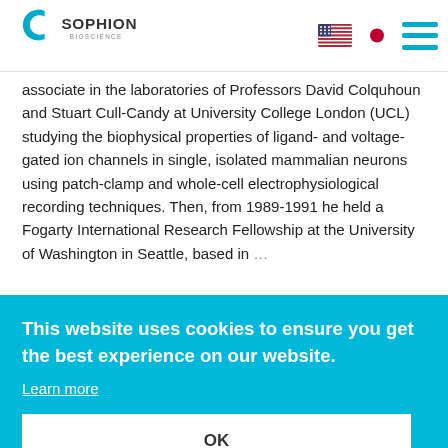Sophion Bioscience — navigation header with logo, US and Japan flags, and hamburger menu
associate in the laboratories of Professors David Colquhoun and Stuart Cull-Candy at University College London (UCL) studying the biophysical properties of ligand- and voltage-gated ion channels in single, isolated mammalian neurons using patch-clamp and whole-cell electrophysiological recording techniques. Then, from 1989-1991 he held a Fogarty International Research Fellowship at the University of Washington in Seattle, based in … s of … gy to … mitters …
This website uses cookies to ensure you get the best experience on our website.
Learn more
OK
… t the … rger, a … ed to … Imperial College …